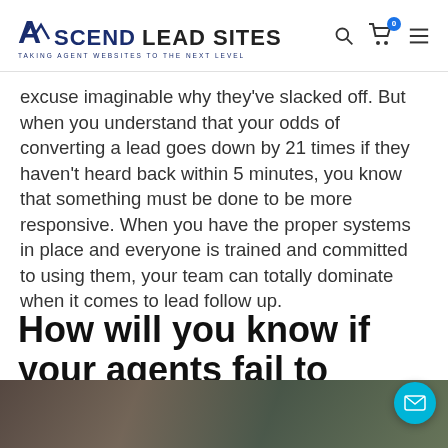Ascend Lead Sites — Taking Agent Websites to the Next Level
excuse imaginable why they've slacked off. But when you understand that your odds of converting a lead goes down by 21 times if they haven't heard back within 5 minutes, you know that something must be done to be more responsive. When you have the proper systems in place and everyone is trained and committed to using them, your team can totally dominate when it comes to lead follow up.
How will you know if your agents fail to follow up?
[Figure (photo): Partial bottom strip of a photo showing a person working on a laptop, dark tones]